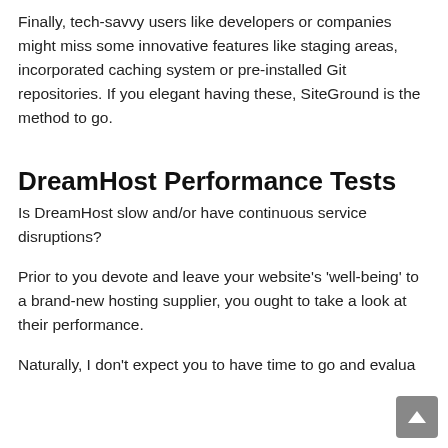Finally, tech-savvy users like developers or companies might miss some innovative features like staging areas, incorporated caching system or pre-installed Git repositories. If you elegant having these, SiteGround is the method to go.
DreamHost Performance Tests
Is DreamHost slow and/or have continuous service disruptions?
Prior to you devote and leave your website's 'well-being' to a brand-new hosting supplier, you ought to take a look at their performance.
Naturally, I don't expect you to have time to go and evalua…